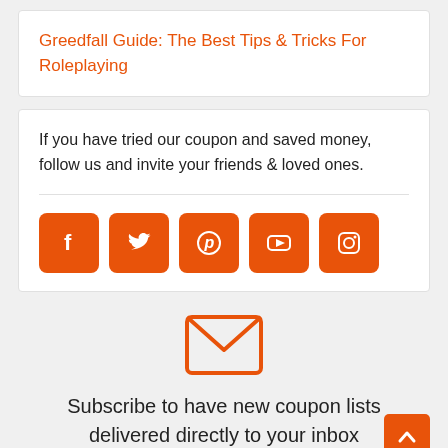Greedfall Guide: The Best Tips & Tricks For Roleplaying
If you have tried our coupon and saved money, follow us and invite your friends & loved ones.
[Figure (infographic): Five orange square social media buttons: Facebook, Twitter, Pinterest, YouTube, Instagram]
[Figure (illustration): Orange envelope/mail icon]
Subscribe to have new coupon lists delivered directly to your inbox